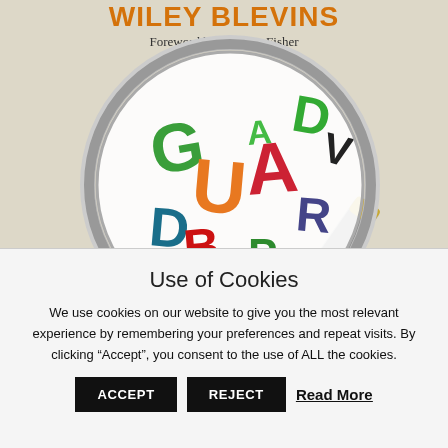[Figure (illustration): Book cover showing a magnifying glass with colorful scattered letters visible through the lens. Author name 'WILEY BLEVINS' in orange at top, 'Foreword by Douglas Fisher' below it. Partial text 'A FRESH' visible at bottom of cover.]
Use of Cookies
We use cookies on our website to give you the most relevant experience by remembering your preferences and repeat visits. By clicking “Accept”, you consent to the use of ALL the cookies.
ACCEPT   REJECT   Read More